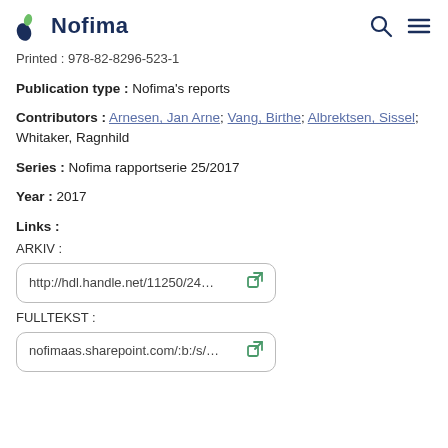Nofima
Printed : 978-82-8296-523-1
Publication type : Nofima's reports
Contributors : Arnesen, Jan Arne; Vang, Birthe; Albrektsen, Sissel; Whitaker, Ragnhild
Series : Nofima rapportserie 25/2017
Year : 2017
Links : ARKIV : http://hdl.handle.net/11250/24...
FULLTEKST : nofimaas.sharepoint.com/:b:/s/...